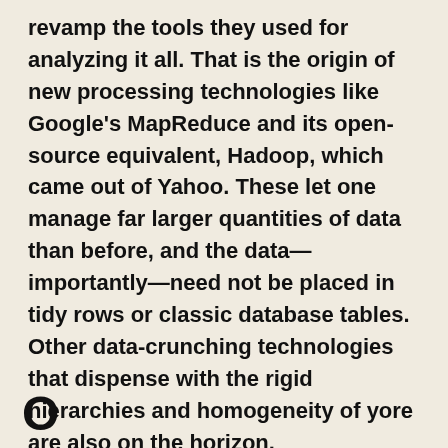revamp the tools they used for analyzing it all. That is the origin of new processing technologies like Google's MapReduce and its open-source equivalent, Hadoop, which came out of Yahoo. These let one manage far larger quantities of data than before, and the data—importantly—need not be placed in tidy rows or classic database tables. Other data-crunching technologies that dispense with the rigid hierarchies and homogeneity of yore are also on the horizon.